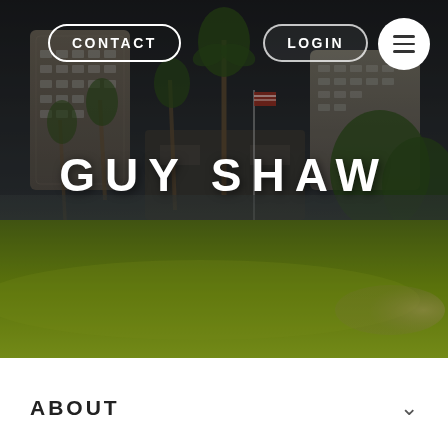[Figure (photo): Hero background photograph of a golf course with green grass in the foreground, palm trees, city buildings/skyline in the background under a dark sky. Taken in what appears to be Phoenix, Arizona.]
CONTACT
LOGIN
GUY SHAW
ABOUT